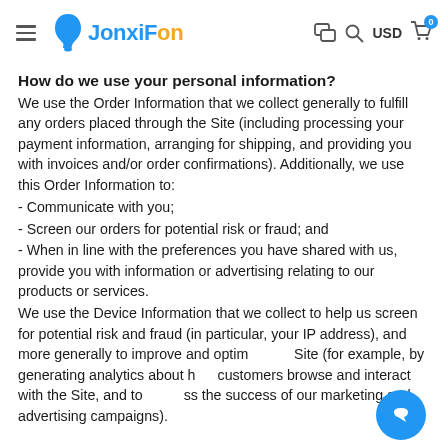JonxiFon — USD, hamburger menu, search, chat, cart (0)
How do we use your personal information?
We use the Order Information that we collect generally to fulfill any orders placed through the Site (including processing your payment information, arranging for shipping, and providing you with invoices and/or order confirmations). Additionally, we use this Order Information to:
- Communicate with you;
- Screen our orders for potential risk or fraud; and
- When in line with the preferences you have shared with us, provide you with information or advertising relating to our products or services.
We use the Device Information that we collect to help us screen for potential risk and fraud (in particular, your IP address), and more generally to improve and optim... Site (for example, by generating analytics about h... customers browse and interact with the Site, and to ...ess the success of our marketing and advertising campaigns).